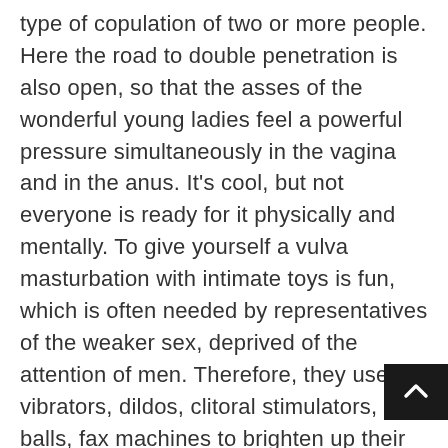type of copulation of two or more people. Here the road to double penetration is also open, so that the asses of the wonderful young ladies feel a powerful pressure simultaneously in the vagina and in the anus. It's cool, but not everyone is ready for it physically and mentally. To give yourself a vulva masturbation with intimate toys is fun, which is often needed by representatives of the weaker sex, deprived of the attention of men. Therefore, they use vibrators, dildos, clitoral stimulators, balls, fax machines to brighten up their lonely stay. After all, there are no identical women, so we have created the appropriate categories for easy navigation by their external complexion, by hair color, by nationality, in relation to same-sex love, and many others. Young ladies, as well as mature ladies, will be happy to introduce the viewer to the world of porn photos, where fantasy is not a joke! There are also varieties of oral sex, including suck the phallus, licking pussy or anal, which are used in the